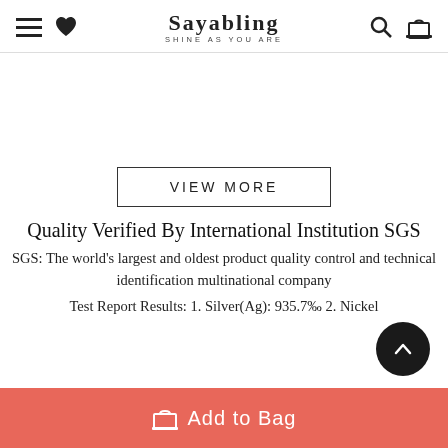Sayabling – Shine As You Are – navigation header with hamburger, heart, search, and bag icons
[Figure (other): White blank image/product area placeholder]
VIEW MORE
Quality Verified By International Institution SGS
SGS: The world's largest and oldest product quality control and technical identification multinational company
Test Report Results: 1. Silver(Ag): 935.7‰ 2. Nickel
Add to Bag